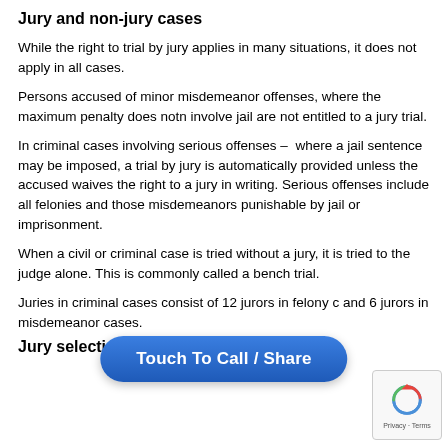Jury and non-jury cases
While the right to trial by jury applies in many situations, it does not apply in all cases.
Persons accused of minor misdemeanor offenses, where the maximum penalty does notn involve jail are not entitled to a jury trial.
In criminal cases involving serious offenses –  where a jail sentence may be imposed, a trial by jury is automatically provided unless the accused waives the right to a jury in writing. Serious offenses include all felonies and those misdemeanors punishable by jail or imprisonment.
When a civil or criminal case is tried without a jury, it is tried to the judge alone. This is commonly called a bench trial.
Juries in criminal cases consist of 12 jurors in felony cases and 6 jurors in misdemeanor cases.
Jury selection